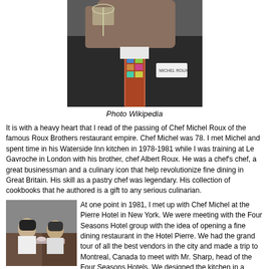[Figure (photo): Black and white close-up photo of Chef Michel Roux holding up a champagne glass, wearing a dark suit jacket with a patterned tie and a name badge reading 'Michel Roux'.]
Photo Wikipedia
It is with a heavy heart that I read of the passing of Chef Michel Roux of the famous Roux Brothers restaurant empire. Chef Michel was 78. I met Michel and spent time in his Waterside Inn kitchen in 1978-1981 while I was training at Le Gavroche in London with his brother, chef Albert Roux. He was a chef's chef, a great businessman and a culinary icon that help revolutionize fine dining in Great Britain. His skill as a pastry chef was legendary. His collection of cookbooks that he authored is a gift to any serious culinarian.
[Figure (photo): Black and white photo of two men in a restaurant setting, one appears to be a chef.]
At one point in 1981, I met up with Chef Michel at the Pierre Hotel in New York. We were meeting with the Four Seasons Hotel group with the idea of opening a fine dining restaurant in the Hotel Pierre. We had the grand tour of all the best vendors in the city and made a trip to Montreal, Canada to meet with Mr. Sharp, head of the Four Seasons Hotels. We designed the kitchen in a matter of hours and Michel negotiated the